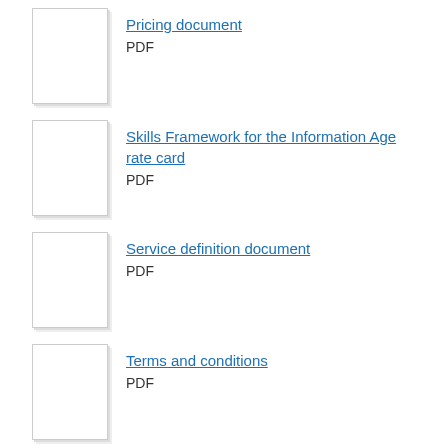Pricing document
PDF
Skills Framework for the Information Age rate card
PDF
Service definition document
PDF
Terms and conditions
PDF
Request an accessible format
About Digital Marketplace
Contact
Services you can buy
Services you can sell